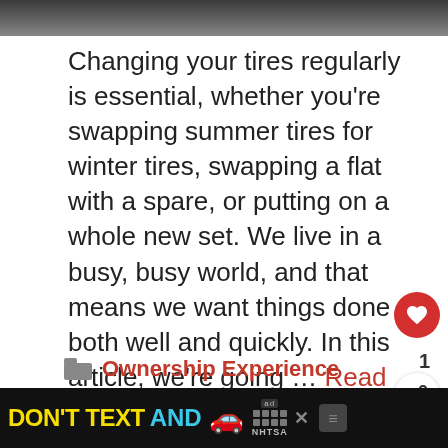[Figure (photo): Top portion of an image, partially visible, appears to be a dark automotive or outdoor scene]
Changing your tires regularly is essential, whether you’re swapping summer tires for winter tires, swapping a flat with a spare, or putting on a whole new set. We live in a busy, busy world, and that means we want things done both well and quickly. In this article, we’re going … Read more
Ownership Experience
Booming Vertical Markets Support EV Transition
[Figure (screenshot): What's Next widget showing a car-related thumbnail and text '9 Automotive Trends For...']
[Figure (screenshot): Ad banner at bottom: DON'T TEXT AND [car emoji] with NHTSA logo]